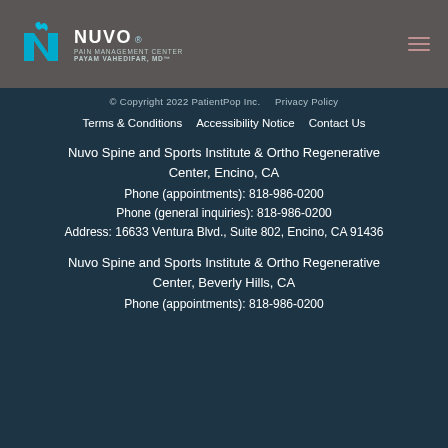[Figure (logo): Nuvo Pain Management Center logo with Payam Vahedifar, MD text on dark gray header bar]
© Copyright 2022 PatientPop Inc.    Privacy Policy
Terms & Conditions    Accessibility Notice    Contact Us
Nuvo Spine and Sports Institute & Ortho Regenerative Center, Encino, CA
Phone (appointments): 818-986-0200
Phone (general inquiries): 818-986-0200
Address: 16633 Ventura Blvd., Suite 802, Encino, CA 91436
Nuvo Spine and Sports Institute & Ortho Regenerative Center, Beverly Hills, CA
Phone (appointments): 818-986-0200